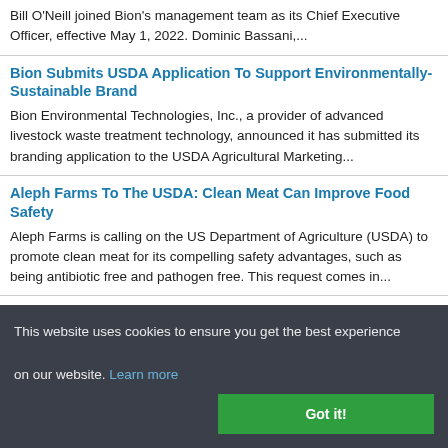Bill O'Neill joined Bion's management team as its Chief Executive Officer, effective May 1, 2022. Dominic Bassani,...
Bion Submits USDA Application To Support Environmentally-Sustainable Brand
Bion Environmental Technologies, Inc., a provider of advanced livestock waste treatment technology, announced it has submitted its branding application to the USDA Agricultural Marketing...
Aleph Farms To The USDA: Clean Meat Can Improve Food Safety
Aleph Farms is calling on the US Department of Agriculture (USDA) to promote clean meat for its compelling safety advantages, such as being antibiotic free and pathogen free. This request comes in...
Pioneering Commercialized Scale Automation Helps Fresh Food...
This website uses cookies to ensure you get the best experience on our website. Learn more
Got it!